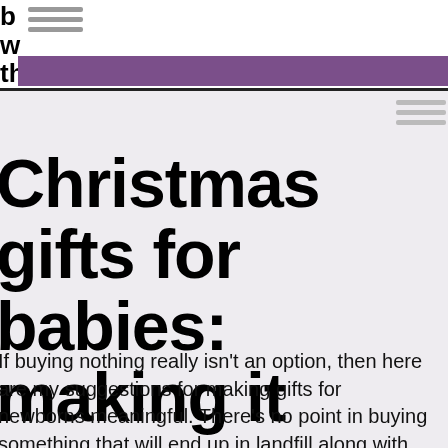Christmas gifts for babies: making it count
If buying nothing really isn't an option, then here are my suggestions for making gifts for newborns meaningful. There's no point in buying something that will end up in landfill along with other frivolous festive purchases.